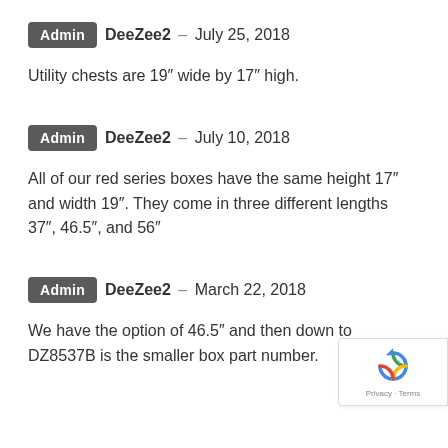Admin DeeZee2 – July 25, 2018
Utility chests are 19″ wide by 17″ high.
Admin DeeZee2 – July 10, 2018
All of our red series boxes have the same height 17″ and width 19″. They come in three different lengths 37″, 46.5″, and 56″
Admin DeeZee2 – March 22, 2018
We have the option of 46.5″ and then down to DZ8537B is the smaller box part number.